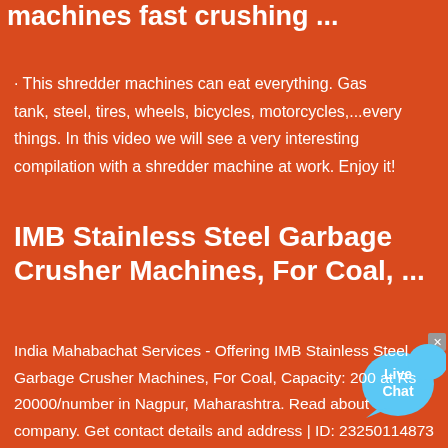machines fast crushing ...
· This shredder machines can eat everything. Gas tank, steel, tires, wheels, bicycles, motorcycles,...every things. In this video we will see a very interesting compilation with a shredder machine at work. Enjoy it!
[Figure (other): Live Chat button bubble in light blue]
IMB Stainless Steel Garbage Crusher Machines, For Coal, ...
India Mahabachat Services - Offering IMB Stainless Steel Garbage Crusher Machines, For Coal, Capacity: 200 at Rs 20000/number in Nagpur, Maharashtra. Read about company. Get contact details and address | ID: 23250114873